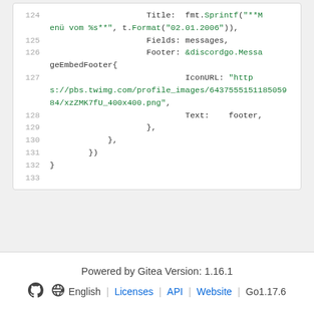[Figure (screenshot): Code snippet showing Go source code lines 124-133 with syntax highlighting. Line 124: Title fmt.Sprintf(**Menü vom %s**, t.Format(02.01.2006)), Line 125: Fields: messages, Line 126: Footer: &discordgo.MessageEmbedFooter{, Line 127: IconURL: https://pbs.twimg.com/profile_images/6437555151185059 84/xzZMK7fU_400x400.png, Line 128: Text: footer, Line 129: }, Line 130: }, Line 131: }), Line 132: }, Line 133: (empty)]
Powered by Gitea Version: 1.16.1  English | Licenses | API | Website | Go1.17.6